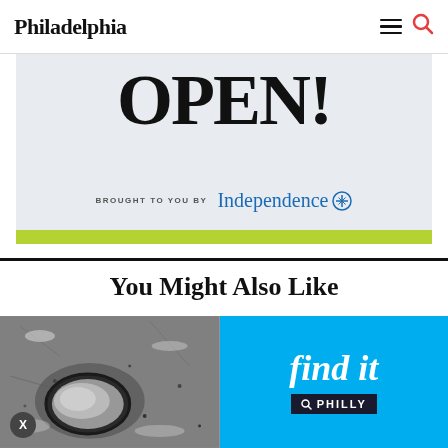Philadelphia
[Figure (infographic): Advertisement banner with large bold text 'OPEN!' on light gray background, 'BROUGHT TO YOU BY Independence Blue Cross' text, and a lime green bar at the bottom]
You Might Also Like
[Figure (photo): Black and white photo of a pothole in a road with water/ice in it]
[Figure (infographic): Bright blue advertisement tile with white italic text 'find it' and a dark badge reading 'PHILLY' with a search icon]